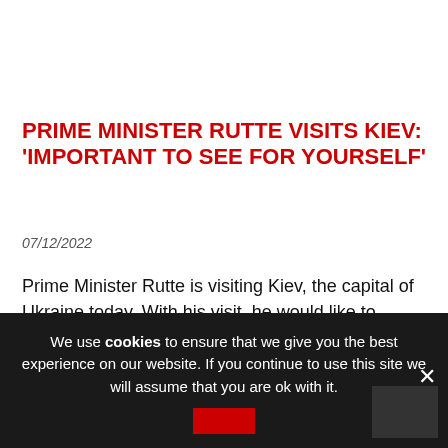PRIME MINISTER RUTTE VISITS KIEV: 'IMPORTANT TO SEE FOR YOURSELF'
07/12/2022
Prime Minister Rutte is visiting Kiev, the capital of Ukraine today. With his visit, he would like to express his support for the Ukrainian people and …
Politics
We use cookies to ensure that we give you the best experience on our website. If you continue to use this site we will assume that you are ok with it.